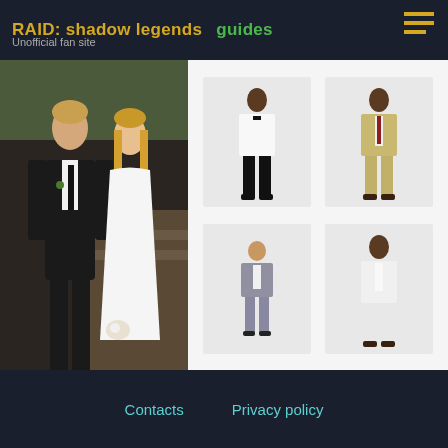RAID: shadow legends  guides
Unofficial fan site
[Figure (photo): Couple at a wedding — man in black tuxedo and woman in white lace dress holding flowers]
[Figure (photo): Man in white tuxedo jacket with black trousers]
[Figure (photo): Man in beige/tan suit]
[Figure (photo): Young boy in grey suit]
[Figure (photo): Man in white suit]
Contacts  Privacy policy